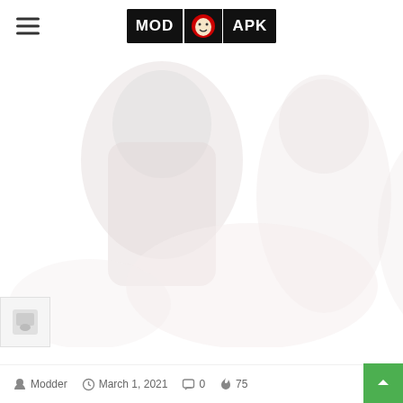MOD IN APK
[Figure (screenshot): Faded/watermarked screenshot of a game or app, showing ghosted character figures on a white background. The image appears bleached/very light.]
Modder  March 1, 2021  0  75